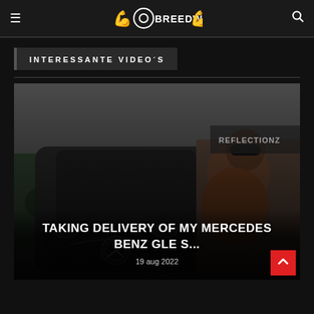BREEDWORDEN
INTERESSANTE VIDEO´S
[Figure (photo): A muscular bodybuilder wearing sunglasses, shirtless, posing next to a dark Mercedes-Benz GLE SUV inside what appears to be an auto detailing shop (Reflectionz). The bodybuilder is flexing his arms and smiling.]
TAKING DELIVERY OF MY MERCEDES BENZ GLE S...
19 aug 2022